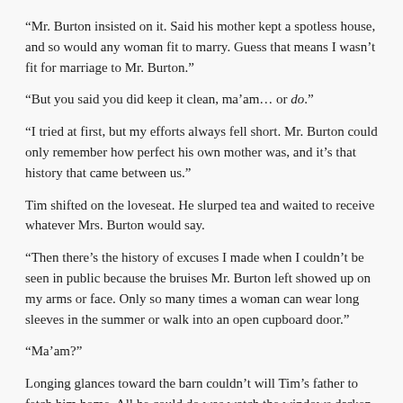“Mr. Burton insisted on it. Said his mother kept a spotless house, and so would any woman fit to marry. Guess that means I wasn’t fit for marriage to Mr. Burton.”
“But you said you did keep it clean, ma’am… or do.”
“I tried at first, but my efforts always fell short. Mr. Burton could only remember how perfect his own mother was, and it’s that history that came between us.”
Tim shifted on the loveseat. He slurped tea and waited to receive whatever Mrs. Burton would say.
“Then there’s the history of excuses I made when I couldn’t be seen in public because the bruises Mr. Burton left showed up on my arms or face. Only so many times a woman can wear long sleeves in the summer or walk into an open cupboard door.”
“Ma’am?”
Longing glances toward the barn couldn’t will Tim’s father to fetch him home. All he could do was watch the windows darken with twilight. The sky thickened with clouds promising snow that night.